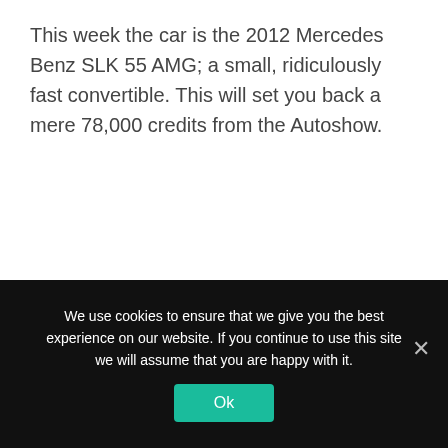This week the car is the 2012 Mercedes Benz SLK 55 AMG; a small, ridiculously fast convertible. This will set you back a mere 78,000 credits from the Autoshow.
We use cookies to ensure that we give you the best experience on our website. If you continue to use this site we will assume that you are happy with it.